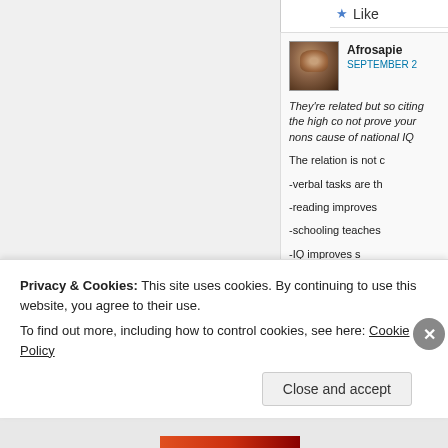Like
Afrosapie
SEPTEMBER 2
They're related but so citing the high co not prove your nons cause of national IQ

The relation is not c

-verbal tasks are th
-reading improves
-schooling teaches
-IQ improves s
Privacy & Cookies: This site uses cookies. By continuing to use this website, you agree to their use.
To find out more, including how to control cookies, see here: Cookie Policy
Close and accept